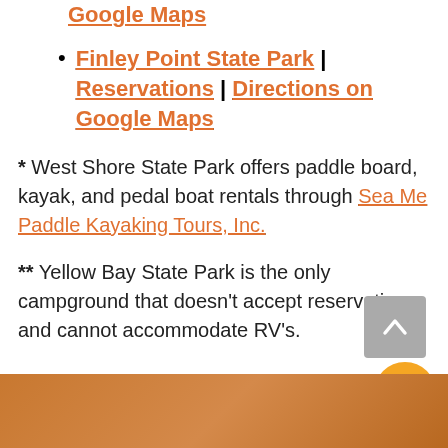Finley Point State Park | Reservations | Directions on Google Maps
* West Shore State Park offers paddle board, kayak, and pedal boat rentals through Sea Me Paddle Kayaking Tours, Inc.
** Yellow Bay State Park is the only campground that doesn't accept reservations and cannot accommodate RV's.